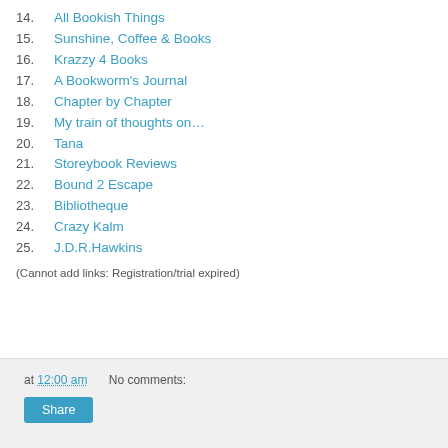14.  All Bookish Things
15.  Sunshine, Coffee & Books
16.  Krazzy 4 Books
17.  A Bookworm's Journal
18.  Chapter by Chapter
19.  My train of thoughts on…
20.  Tana
21.  Storeybook Reviews
22.  Bound 2 Escape
23.  Bibliotheque
24.  Crazy Kalm
25.  J.D.R.Hawkins
(Cannot add links: Registration/trial expired)
at 12:00 am   No comments:   Share